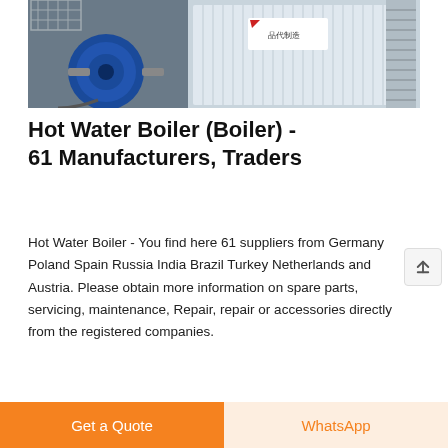[Figure (photo): Industrial hot water boiler equipment: left side shows a blue cylindrical motor/burner unit with metal cage assembly; right side shows a white industrial container with red brand marking and metal staircase]
Hot Water Boiler (Boiler) - 61 Manufacturers, Traders
Hot Water Boiler - You find here 61 suppliers from Germany Poland Spain Russia India Brazil Turkey Netherlands and Austria. Please obtain more information on spare parts, servicing, maintenance, Repair, repair or accessories directly from the registered companies.